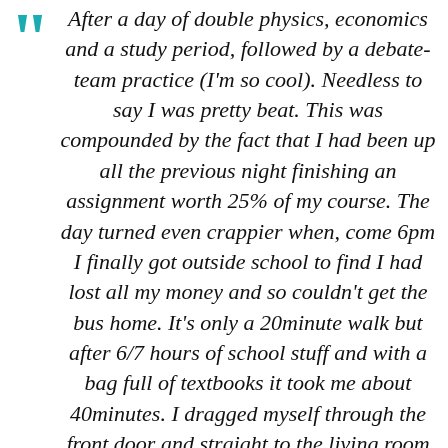After a day of double physics, economics and a study period, followed by a debate-team practice (I'm so cool). Needless to say I was pretty beat. This was compounded by the fact that I had been up all the previous night finishing an assignment worth 25% of my course. The day turned even crappier when, come 6pm I finally got outside school to find I had lost all my money and so couldn't get the bus home. It's only a 20minute walk but after 6/7 hours of school stuff and with a bag full of textbooks it took me about 40minutes. I dragged myself through the front door and straight to the living room where I flicked on the telly and flopped on the sofa.